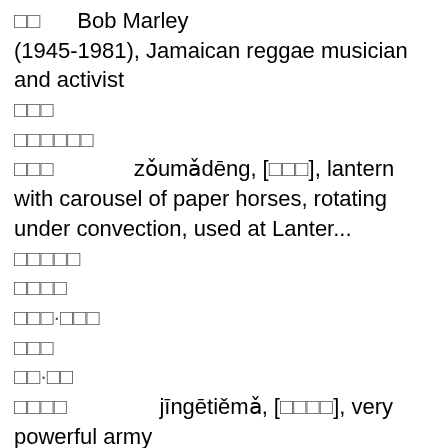□□   Bob Marley (1945-1981), Jamaican reggae musician and activist
□□□
□□□□□□
□□□   zǒumǎdēng, [□□□], lantern with carousel of paper horses, rotating under convection, used at Lanter...
□□□□□
□□□□
□□□·□□□
□□□
□□·□□
□□□□   jīngētiěmǎ, [□□□□], very powerful army
□□·□□
□□□□
□□□·□□□·□□